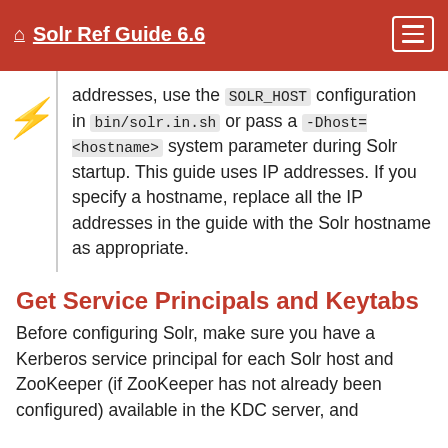Solr Ref Guide 6.6
addresses, use the SOLR_HOST configuration in bin/solr.in.sh or pass a -Dhost=<hostname> system parameter during Solr startup. This guide uses IP addresses. If you specify a hostname, replace all the IP addresses in the guide with the Solr hostname as appropriate.
Get Service Principals and Keytabs
Before configuring Solr, make sure you have a Kerberos service principal for each Solr host and ZooKeeper (if ZooKeeper has not already been configured) available in the KDC server, and